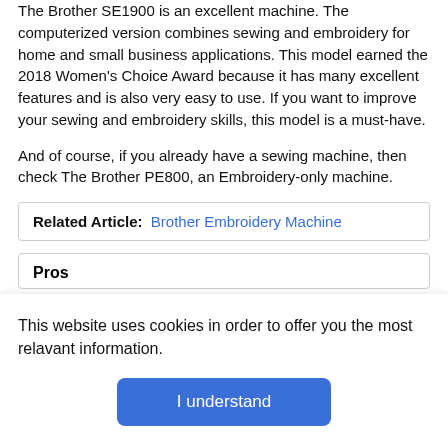The Brother SE1900 is an excellent machine. The computerized version combines sewing and embroidery for home and small business applications. This model earned the 2018 Women's Choice Award because it has many excellent features and is also very easy to use. If you want to improve your sewing and embroidery skills, this model is a must-have.
And of course, if you already have a sewing machine, then check The Brother PE800, an Embroidery-only machine.
Related Article: Brother Embroidery Machine
Pros
This website uses cookies in order to offer you the most relavant information.